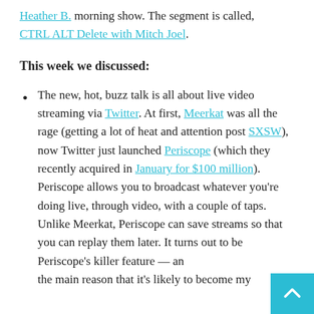Heather B. morning show. The segment is called, CTRL ALT Delete with Mitch Joel.
This week we discussed:
The new, hot, buzz talk is all about live video streaming via Twitter. At first, Meerkat was all the rage (getting a lot of heat and attention post SXSW), now Twitter just launched Periscope (which they recently acquired in January for $100 million). Periscope allows you to broadcast whatever you're doing live, through video, with a couple of taps. Unlike Meerkat, Periscope can save streams so that you can replay them later. It turns out to be Periscope's killer feature — and the main reason that it's likely to become my